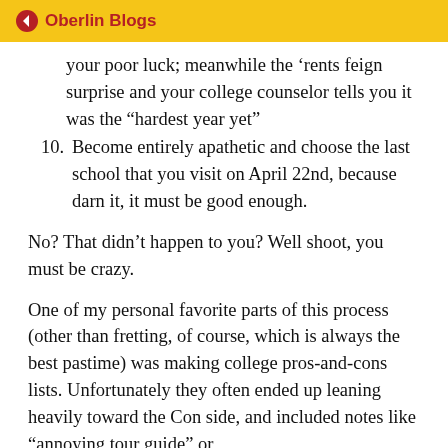← Oberlin Blogs
your poor luck; meanwhile the ‘rents feign surprise and your college counselor tells you it was the “hardest year yet”
10. Become entirely apathetic and choose the last school that you visit on April 22nd, because darn it, it must be good enough.
No? That didn’t happen to you? Well shoot, you must be crazy.
One of my personal favorite parts of this process (other than fretting, of course, which is always the best pastime) was making college pros-and-cons lists. Unfortunately they often ended up leaning heavily toward the Con side, and included notes like “annoying tour guide” or